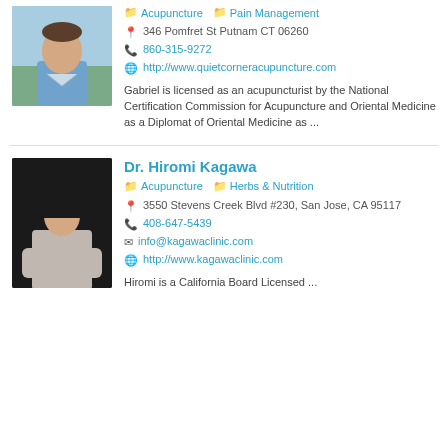[Figure (photo): Headshot of a male acupuncturist in a blue shirt, outdoors background]
Acupuncture  Pain Management
346 Pomfret St Putnam CT 06260
860-315-9272
http://www.quietcorneracupuncture.com
Gabriel is licensed as an acupuncturist by the National Certification Commission for Acupuncture and Oriental Medicine as a Diplomat of Oriental Medicine as ...
[Figure (photo): Headshot of Dr. Hiromi Kagawa, a woman with short dark hair, seated, against dark background]
Dr. Hiromi Kagawa
Acupuncture  Herbs & Nutrition
3550 Stevens Creek Blvd #230, San Jose, CA 95117
408-647-5439
info@kagawaclinic.com
http://www.kagawaclinic.com
Hiromi is a California Board Licensed ...